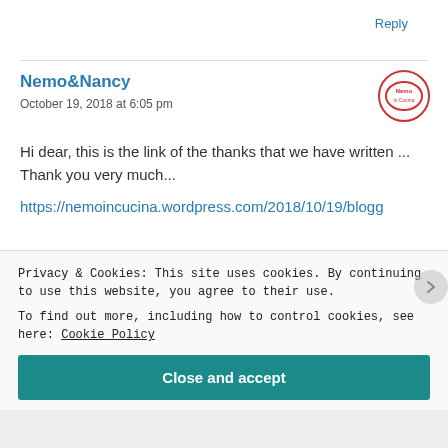Reply
Nemo&Nancy
October 19, 2018 at 6:05 pm
Hi dear, this is the link of the thanks that we have written ... Thank you very much...
https://nemoincucina.wordpress.com/2018/10/19/blogg
Privacy & Cookies: This site uses cookies. By continuing to use this website, you agree to their use.
To find out more, including how to control cookies, see here: Cookie Policy
Close and accept